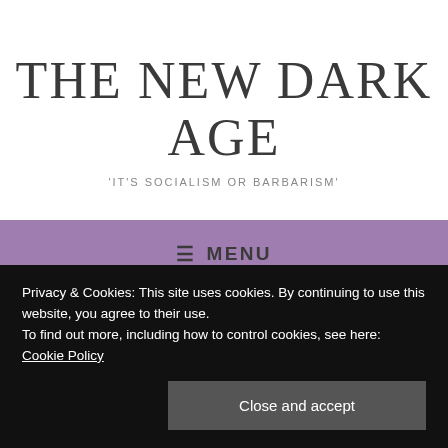THE NEW DARK AGE
'IT'S SOCIALISM OR BARBARISM'
≡ MENU
GENERAL 'TRIED TO COVER UP TRUTH
Privacy & Cookies: This site uses cookies. By continuing to use this website, you agree to their use.
To find out more, including how to control cookies, see here: Cookie Policy
Close and accept